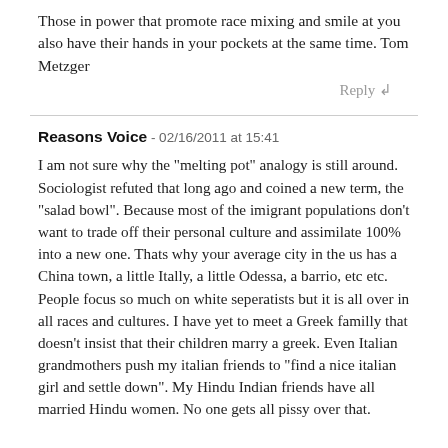Those in power that promote race mixing and smile at you also have their hands in your pockets at the same time. Tom Metzger
Reply
Reasons Voice - 02/16/2011 at 15:41
I am not sure why the "melting pot" analogy is still around. Sociologist refuted that long ago and coined a new term, the "salad bowl". Because most of the imigrant populations don't want to trade off their personal culture and assimilate 100% into a new one. Thats why your average city in the us has a China town, a little Itally, a little Odessa, a barrio, etc etc. People focus so much on white seperatists but it is all over in all races and cultures. I have yet to meet a Greek familly that doesn't insist that their children marry a greek. Even Italian grandmothers push my italian friends to "find a nice italian girl and settle down". My Hindu Indian friends have all married Hindu women. No one gets all pissy over that.